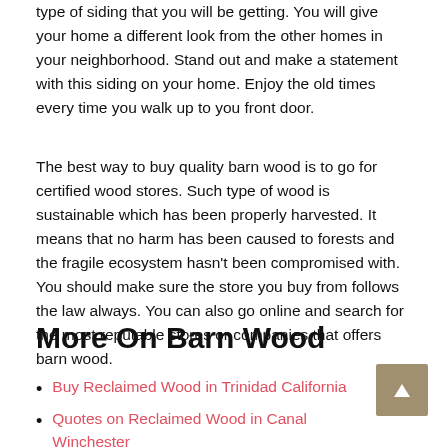type of siding that you will be getting. You will give your home a different look from the other homes in your neighborhood. Stand out and make a statement with this siding on your home. Enjoy the old times every time you walk up to you front door.
The best way to buy quality barn wood is to go for certified wood stores. Such type of wood is sustainable which has been properly harvested. It means that no harm has been caused to forests and the fragile ecosystem hasn't been compromised with. You should make sure the store you buy from follows the law always. You can also go online and search for the most reputable stores or companies that offers barn wood.
More On Barn Wood
Buy Reclaimed Wood in Trinidad California
Quotes on Reclaimed Wood in Canal Winchester